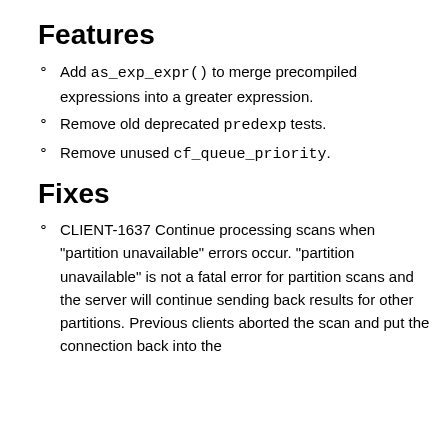Features
Add as_exp_expr() to merge precompiled expressions into a greater expression.
Remove old deprecated predexp tests.
Remove unused cf_queue_priority.
Fixes
CLIENT-1637 Continue processing scans when "partition unavailable" errors occur. "partition unavailable" is not a fatal error for partition scans and the server will continue sending back results for other partitions. Previous clients aborted the scan and put the connection back into the